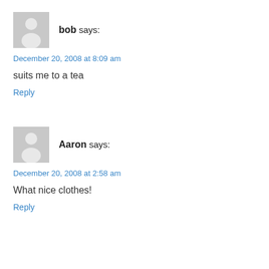[Figure (illustration): Gray placeholder avatar icon with silhouette of a person, for user 'bob']
bob says:
December 20, 2008 at 8:09 am
suits me to a tea
Reply
[Figure (illustration): Gray placeholder avatar icon with silhouette of a person, for user 'Aaron']
Aaron says:
December 20, 2008 at 2:58 am
What nice clothes!
Reply